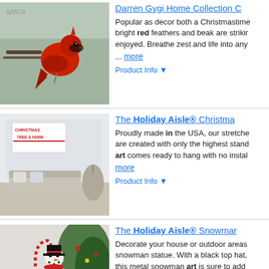[Figure (photo): Red cardinal bird painting]
Darren Gygi Home Collection C…
Popular as decor both a Christmastime bright red feathers and beak are striking enjoyed. Breathe zest and life into any … more
Product Info ▼
[Figure (photo): Christmas Tree Farm canvas art in living room]
The Holiday Aisle® Christma…
Proudly made in the USA, our stretche are created with only the highest stand art comes ready to hang with no instal more
Product Info ▼
[Figure (photo): Metal snowman statue with black top hat and scarf]
The Holiday Aisle® Snowmar…
Decorate your house or outdoor areas snowman statue. With a black top hat, this metal snowman art is sure to add or … more
Product Info ▼
[Figure (photo): Bronze deer head wall mount on brick wall]
The Holiday Aisle® Alapaha D…
Display this gorgeous high-quality Chr decorating dreams come true. Perfect a front door holiday wreath, front porc more
Product Info ▼